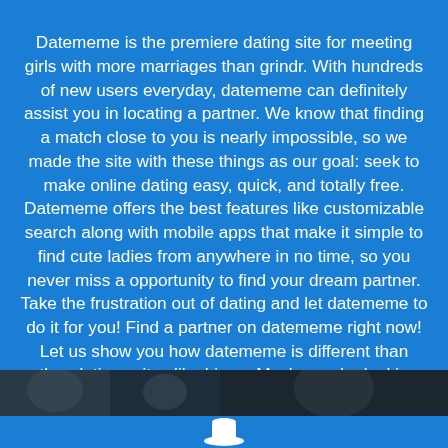Datememe is the premiere dating site for meeting girls with more marriages than grindr. With hundreds of new users everyday, datememe can definitely assist you in locating a partner. We know that finding a match close to you is nearly impossible, so we made the site with these things as our goal: seek to make online dating easy, quick, and totally free. Datememe offers the best features like customizable search along with mobile apps that make it simple to find cute ladies from anywhere in no time, so you never miss a opportunity to find your dream partner. Take the frustration out of dating and let datememe to do it for you! Find a partner on datememe right now! Let us show you how datememe is different than other datings sites like hinge. Maybe you're looking for fun. What we will want changes as we grow. Simply adjust your settings and rest assured you will find exactly who you want at the exact right time for you.
[Figure (photo): A strip of two photos at the bottom of the blue section, showing partial faces/people, dark toned images side by side.]
[Figure (illustration): Blue bar at bottom with a white hat/detective icon centered.]